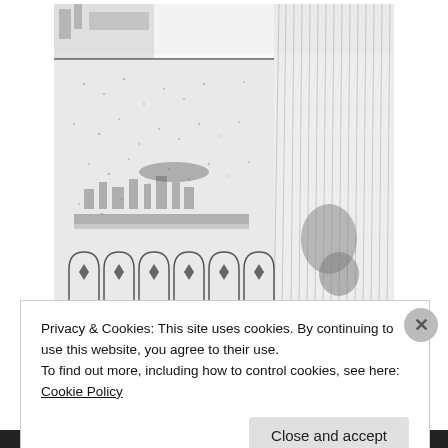[Figure (illustration): A detailed pencil/ink sketch illustration depicting a fantasy or medieval cityscape with a large waterfall on the right side, castle or fortress structures at the top, ornate arched doorways or windows with diamond symbols at the bottom, and a dramatic cliff or rock face. The style is intricate stippling and line work.]
Privacy & Cookies: This site uses cookies. By continuing to use this website, you agree to their use.
To find out more, including how to control cookies, see here: Cookie Policy
Close and accept